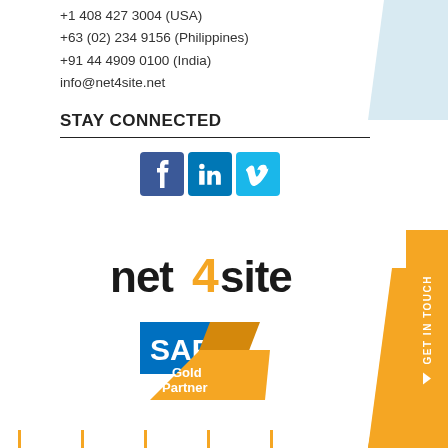+1 408 427 3004 (USA)
+63 (02) 234 9156 (Philippines)
+91 44 4909 0100 (India)
info@net4site.net
STAY CONNECTED
[Figure (logo): Social media icons: Facebook (blue), LinkedIn (blue), Vimeo (light blue)]
[Figure (logo): net4site logo with orange '4' graphic]
[Figure (logo): SAP Gold Partner logo]